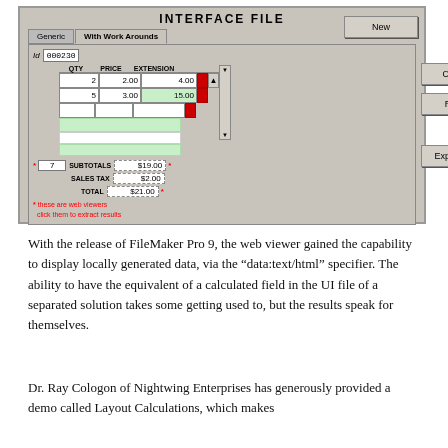[Figure (screenshot): Screenshot of a FileMaker Pro interface file layout showing 'INTERFACE FILE' title, tabs 'Generic' and 'With Work Arounds', a data entry form with Id 000230, QTY/PRICE/EXTENSION columns with rows (2, 2.00, 4.00), (5, 3.00, 15.00), subtotals $19.00, sales tax $2.00, total $21.00, and buttons New, Commit, Revert, Explanation on the right side. Red note: '* these are web viewers click them to extract results']
With the release of FileMaker Pro 9, the web viewer gained the capability to display locally generated data, via the “data:text/html” specifier. The ability to have the equivalent of a calculated field in the UI file of a separated solution takes some getting used to, but the results speak for themselves.
Dr. Ray Cologon of Nightwing Enterprises has generously provided a demo called Layout Calculations, which makes